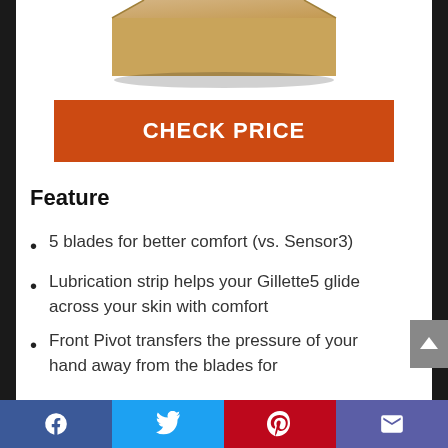[Figure (photo): Partial product box image visible at top of page]
CHECK PRICE
Feature
5 blades for better comfort (vs. Sensor3)
Lubrication strip helps your Gillette5 glide across your skin with comfort
Front Pivot transfers the pressure of your hand away from the blades for
Social share bar: Facebook, Twitter, Pinterest, Email